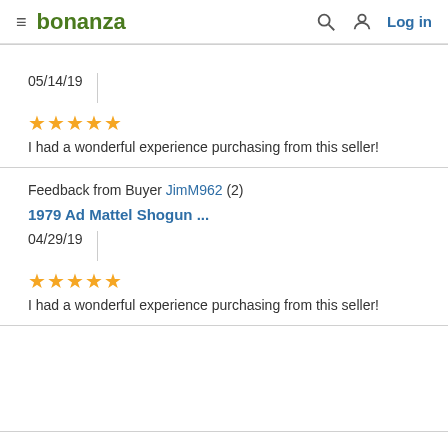bonanza  Log in
05/14/19
★★★★★
I had a wonderful experience purchasing from this seller!
Feedback from Buyer JimM962 (2)
1979 Ad Mattel Shogun ...
04/29/19
★★★★★
I had a wonderful experience purchasing from this seller!